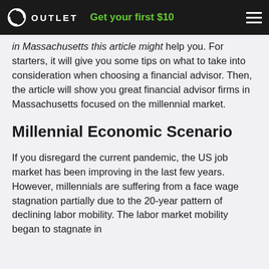OUTLET | Get your first $10
in Massachusetts this article might help you. For starters, it will give you some tips on what to take into consideration when choosing a financial advisor. Then, the article will show you great financial advisor firms in Massachusetts focused on the millennial market.
Millennial Economic Scenario
If you disregard the current pandemic, the US job market has been improving in the last few years. However, millennials are suffering from a face wage stagnation partially due to the 20-year pattern of declining labor mobility. The labor market mobility began to stagnate in